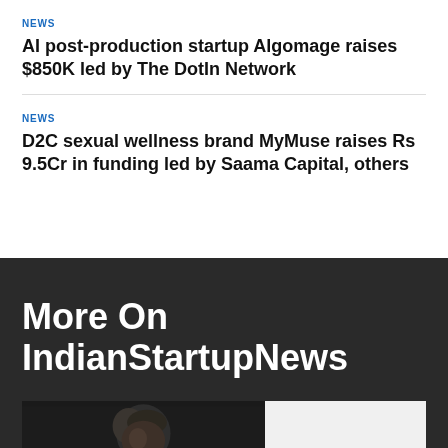NEWS
AI post-production startup Algomage raises $850K led by The DotIn Network
NEWS
D2C sexual wellness brand MyMuse raises Rs 9.5Cr in funding led by Saama Capital, others
More On IndianStartupNews
[Figure (photo): Photo of a person against dark background, with a white/light panel to the right]